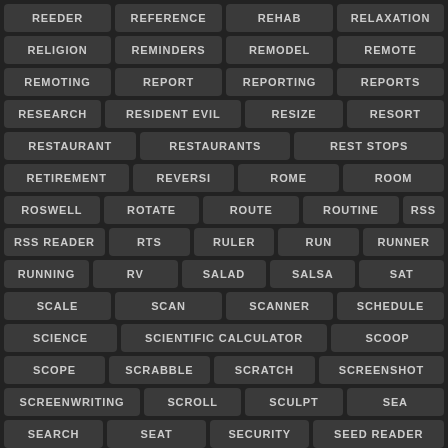REEDER, REFERENCE, REHAB, RELAXATION
RELIGION, REMINDERS, REMODEL, REMOTE
REMOTING, REPORT, REPORTING, REPORTS
RESEARCH, RESIDENT EVIL, RESIZE, RESORT
RESTAURANT, RESTAURANTS, REST STOPS
RETIREMENT, REVERSI, ROME, ROOM
ROSWELL, ROTATE, ROUTE, ROUTINE, RSS
RSS READER, RTS, RULER, RUN, RUNNER
RUNNING, RV, SALAD, SALSA, SAT
SCALE, SCAN, SCANNER, SCHEDULE
SCIENCE, SCIENTIFIC CALCULATOR, SCOOP
SCOPE, SCRABBLE, SCRATCH, SCREENSHOT
SCREENWRITING, SCROLL, SCULPT, SEA
SEARCH, SEAT, SECURITY, SEED READER
SEVEN, SEWING, SFTP, SG1, SHAKE
SHAKESPEARE, SHARE, SHARK, SHIPPING